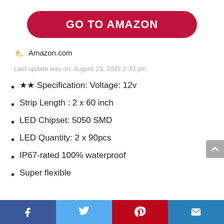[Figure (other): Red rounded button with white bold text 'GO TO AMAZON']
[Figure (logo): Amazon logo (orange 'a' with arrow) followed by 'Amazon.com' text]
Last update was on: August 23, 2022 2:33 pm
★★ Specification: Voltage: 12v
Strip Length : 2 x 60 inch
LED Chipset: 5050 SMD
LED Quantity: 2 x 90pcs
IP67-rated 100% waterproof
Super flexible
Facebook | Twitter | Pinterest | Email